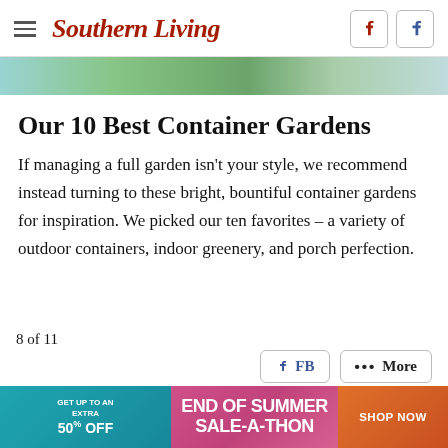Southern Living
[Figure (photo): Narrow horizontal photo strip showing outdoor garden/porch scene with green foliage and teal elements]
Our 10 Best Container Gardens
If managing a full garden isn't your style, we recommend instead turning to these bright, bountiful container gardens for inspiration. We picked our ten favorites – a variety of outdoor containers, indoor greenery, and porch perfection.
8 of 11
[Figure (infographic): Advertisement banner: GET UP TO AN EXTRA 50% OFF | END OF SUMMER SALE-A-THON | SHOP NOW]